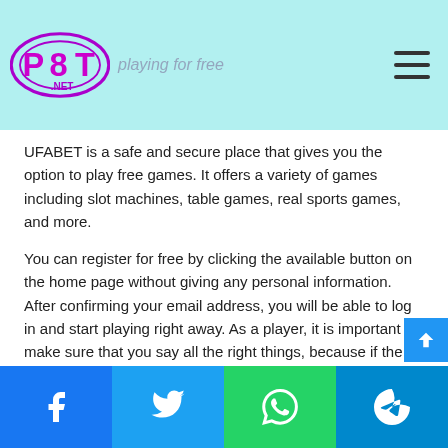P8T.NET — playing for free
UFABET is a safe and secure place that gives you the option to play free games. It offers a variety of games including slot machines, table games, real sports games, and more.
You can register for free by clicking the available button on the home page without giving any personal information. After confirming your email address, you will be able to log in and start playing right away. As a player, it is important to make sure that you say all the right things, because if the information is useless, you will not get all the benefits of this last platform.
How to invest in UABET Casino?
Facebook Twitter WhatsApp Telegram